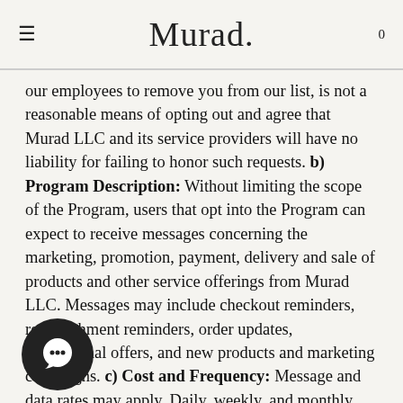Murad.
our employees to remove you from our list, is not a reasonable means of opting out and agree that Murad LLC and its service providers will have no liability for failing to honor such requests. b) Program Description: Without limiting the scope of the Program, users that opt into the Program can expect to receive messages concerning the marketing, promotion, payment, delivery and sale of products and other service offerings from Murad LLC. Messages may include checkout reminders, replenishment reminders, order updates, promotional offers, and new products and marketing campaigns. c) Cost and Frequency: Message and data rates may apply. Daily, weekly, and monthly message frequency will vary. d) Support Instructions: For support regarding the Program, text “HELP” to the number you received messages from or email us at [Brand’s customer service email that will field SMS marketing related questions]. Please note that the use of this email address is not an acceptable method of opting out of the program. Opt outs must be submitted in accordance with the procedures set forth above. e) MMS Disclosure: The Program will send SMS TMs (terminating messages) if your mobile device does not support